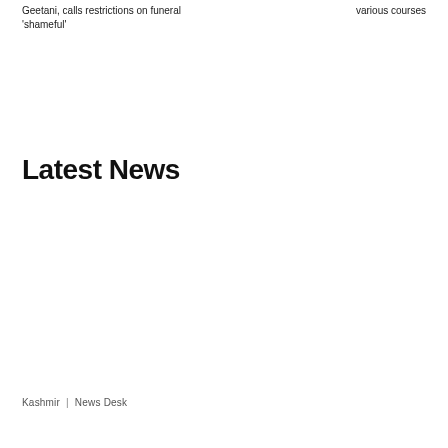Geetani, calls restrictions on funeral ‘shameful’
various courses
Latest News
Kashmir | News Desk